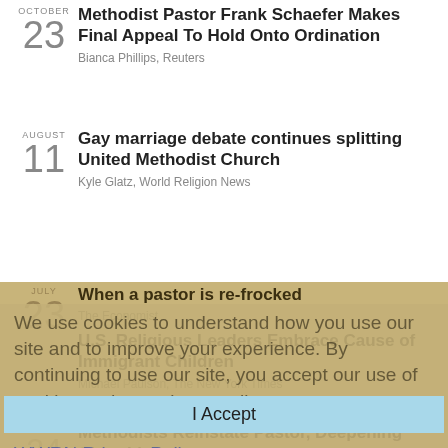OCTOBER 23 — Methodist Pastor Frank Schaefer Makes Final Appeal To Hold Onto Ordination — Bianca Phillips, Reuters
AUGUST 11 — Gay marriage debate continues splitting United Methodist Church — Kyle Glatz, World Religion News
JULY 23 — When a pastor is re-frocked — The Economist
U.S. Religious Leaders Embrace Cause of Immigrant Children — Michael Paulson, The New York Times
JULY 15 — Rev. Charles Moore, Pastor Who Self-Immolated, Spent A Lifetime Protesting Injustice — Antonia Blumberg, The Huffington Post
JUNE 24 — Methodists Reinstate Pastor, Deepening Church's…
We use cookies to understand how you use our site and to improve your experience. By continuing to use our site, you accept our use of cookies and our privacy policy.
WWRN Privacy Policy
I Accept